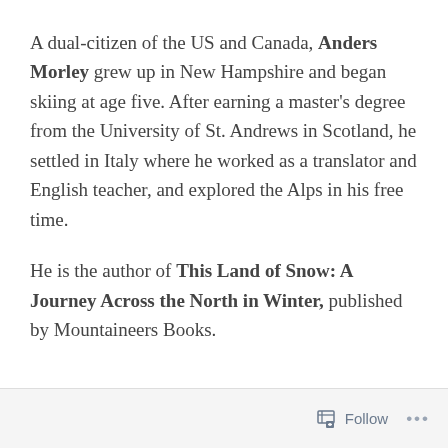A dual-citizen of the US and Canada, Anders Morley grew up in New Hampshire and began skiing at age five. After earning a master's degree from the University of St. Andrews in Scotland, he settled in Italy where he worked as a translator and English teacher, and explored the Alps in his free time.
He is the author of This Land of Snow: A Journey Across the North in Winter, published by Mountaineers Books.
Follow ...